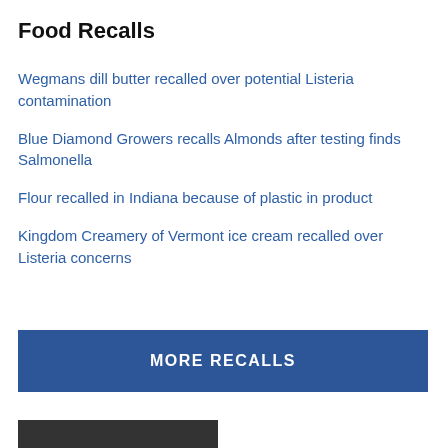Food Recalls
Wegmans dill butter recalled over potential Listeria contamination
Blue Diamond Growers recalls Almonds after testing finds Salmonella
Flour recalled in Indiana because of plastic in product
Kingdom Creamery of Vermont ice cream recalled over Listeria concerns
MORE RECALLS
[Figure (photo): Partially visible photo at bottom of page]